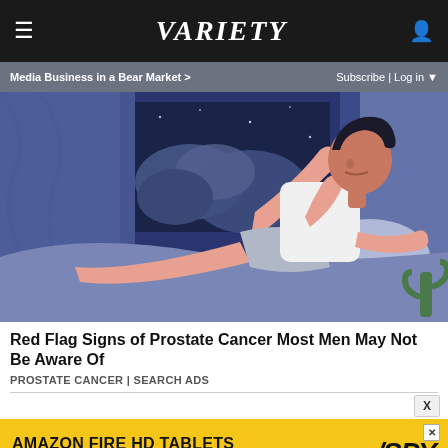≡  VARIETY  👤
Media Business in a Bear Market >   Subscribe | Log in ▼
[Figure (illustration): Illustrated man in white tank top and grey shorts sitting on a bed at night, holding his leg, with a window showing night sky and clouds in the background]
Red Flag Signs of Prostate Cancer Most Men May Not Be Aware Of
PROSTATE CANCER | SEARCH ADS
[Figure (infographic): Amazon Fire HD Tablets advertisement banner with yellow background: 'AMAZON FIRE HD TABLETS JUST $45 RIGHT NOW' with SPY logo]